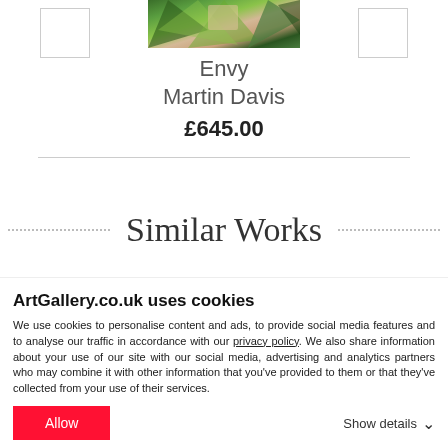[Figure (photo): Artwork image showing green and colorful abstract/leaf composition]
Envy
Martin Davis
£645.00
Similar Works
ArtGallery.co.uk uses cookies
We use cookies to personalise content and ads, to provide social media features and to analyse our traffic in accordance with our privacy policy. We also share information about your use of our site with our social media, advertising and analytics partners who may combine it with other information that you've provided to them or that they've collected from your use of their services.